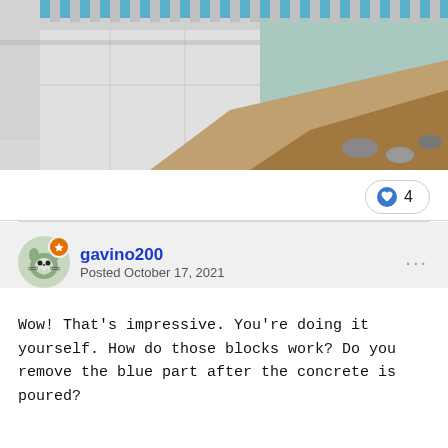[Figure (photo): Construction photo showing large white concrete/ICF blocks forming a wall structure with blue insulation panels visible at the top, and a trench or excavation area below with gravel/dirt visible.]
♥ 4
gavino200
Posted October 17, 2021
Wow! That's impressive. You're doing it yourself. How do those blocks work? Do you remove the blue part after the concrete is poured?